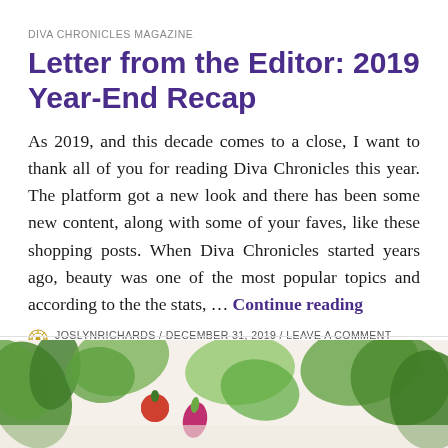DIVA CHRONICLES MAGAZINE
Letter from the Editor: 2019 Year-End Recap
As 2019, and this decade comes to a close, I want to thank all of you for reading Diva Chronicles this year. The platform got a new look and there has been some new content, along with some of your faves, like these shopping posts. When Diva Chronicles started years ago, beauty was one of the most popular topics and according to the the stats, … Continue reading
JOSLYNRICHARDS / DECEMBER 31, 2019 / LEAVE A COMMENT
[Figure (photo): Photo of fresh vegetables including kale, tomatoes, radishes and other greens on a white surface]